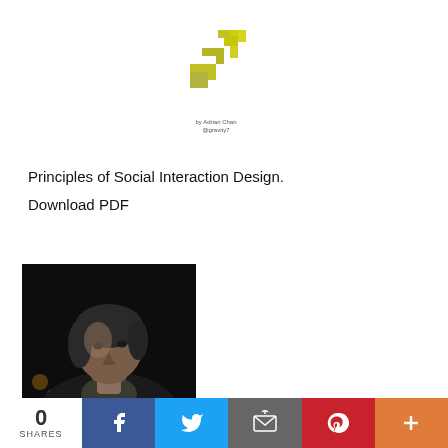[Figure (logo): Stylized yellow/olive geometric logo resembling abstract figures]
by Adrian Chan
@gravity7
Principles of Social Interaction Design.
Download PDF
[Figure (photo): Black and white photo of a middle-aged man with dark hair, wearing a dark jacket, photographed against a dark background]
0 SHARES  [Facebook] [Twitter] [Email] [Pinterest] [More]